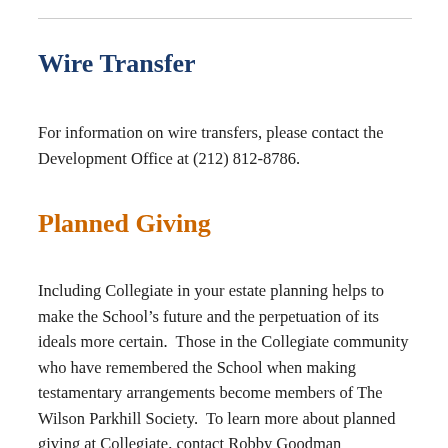Wire Transfer
For information on wire transfers, please contact the Development Office at (212) 812-8786.
Planned Giving
Including Collegiate in your estate planning helps to make the School’s future and the perpetuation of its ideals more certain.  Those in the Collegiate community who have remembered the School when making testamentary arrangements become members of The Wilson Parkhill Society.  To learn more about planned giving at Collegiate, contact Robby Goodman